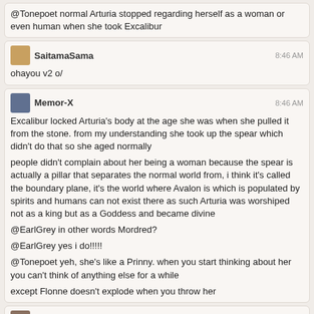@Tonepoet normal Arturia stopped regarding herself as a woman or even human when she took Excalibur
SaitamaSama 8:46 AM
ohayou v2 o/
Memor-X 8:46 AM
Excalibur locked Arturia's body at the age she was when she pulled it from the stone. from my understanding she took up the spear which didn't do that so she aged normally

people didn't complain about her being a woman because the spear is actually a pillar that separates the normal world from, i think it's called the boundary plane, it's the world where Avalon is which is populated by spirits and humans can not exist there as such Arturia was worshiped not as a king but as a Goddess and became divine

@EarlGrey in other words Mordred?
@EarlGrey yes i do!!!!!
@Tonepoet yeh, she's like a Prinny. when you start thinking about her you can't think of anything else for a while
except Flonne doesn't explode when you throw her
Earl Grey 8:53 AM
@Memor-X yea well, her armor still have curve tho
Memor-X 8:54 AM
@EarlGrey true but is it possible to ignore that if you didn't know she was female?
Earl Grey 8:55 AM
and wear iron plate that look a bit like skirt
well probably